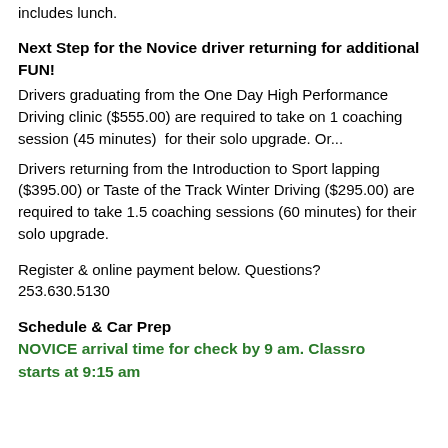includes lunch.
Next Step for the Novice driver returning for additional FUN!
Drivers graduating from the One Day High Performance Driving clinic ($555.00) are required to take on 1 coaching session (45 minutes)  for their solo upgrade. Or...
Drivers returning from the Introduction to Sport lapping ($395.00) or Taste of the Track Winter Driving ($295.00) are required to take 1.5 coaching sessions (60 minutes) for their solo upgrade.
Register & online payment below. Questions? 253.630.5130
Schedule & Car Prep
NOVICE arrival time for check by 9 am. Classroom starts at 9:15 am